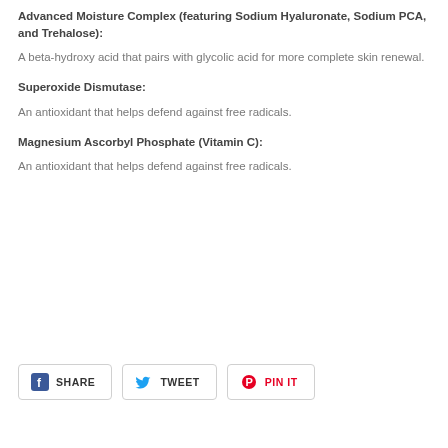Advanced Moisture Complex (featuring Sodium Hyaluronate, Sodium PCA, and Trehalose):
A beta-hydroxy acid that pairs with glycolic acid for more complete skin renewal.
Superoxide Dismutase:
An antioxidant that helps defend against free radicals.
Magnesium Ascorbyl Phosphate (Vitamin C):
An antioxidant that helps defend against free radicals.
[Figure (other): Social sharing buttons: SHARE (Facebook), TWEET (Twitter), PIN IT (Pinterest)]